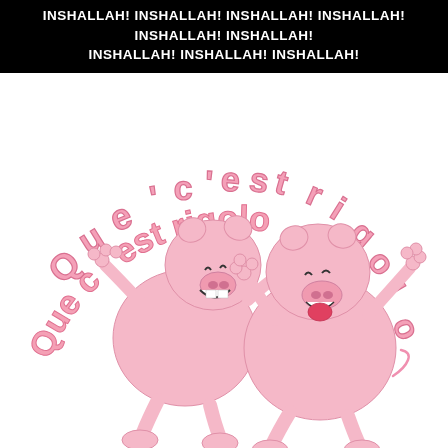INSHALLAH! INSHALLAH! INSHALLAH! INSHALLAH! INSHALLAH! INSHALLAH! INSHALLAH! INSHALLAH! INSHALLAH!
[Figure (illustration): Two cartoon pink pigs dancing joyfully. The text 'Que c'est rigolo' is arranged in an arc above the pigs in pink 3D-style bubble letters. The left pig is laughing with arms raised; the right pig has its tongue out and arms up. Both have funny expressions and small curly tails.]